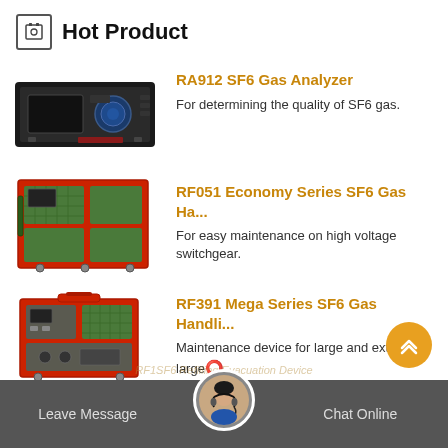Hot Product
[Figure (photo): RA912 SF6 Gas Analyzer — rack-mounted black instrument unit with blue circular display element]
RA912 SF6 Gas Analyzer
For determining the quality of SF6 gas.
[Figure (photo): RF051 Economy Series SF6 Gas Handling device — large red-framed green equipment unit on wheels]
RF051 Economy Series SF6 Gas Ha...
For easy maintenance on high voltage switchgear.
[Figure (photo): RF391 Mega Series SF6 Gas Handling device — red-framed compact equipment unit]
RF391 Mega Series SF6 Gas Handli...
Maintenance device for large and extra large...
Leave Message   Chat Online